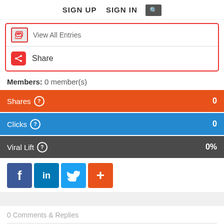SIGN UP  SIGN IN  🔍
View All Entries
Share
Members: 0 member(s)
Shares  0
Clicks  0
Viral Lift  0%
[Figure (infographic): Social share buttons: Facebook (blue), LinkedIn (blue), Twitter (light blue), Plus (orange)]
0 Comments & Replies
Mark lishuai 's Entries